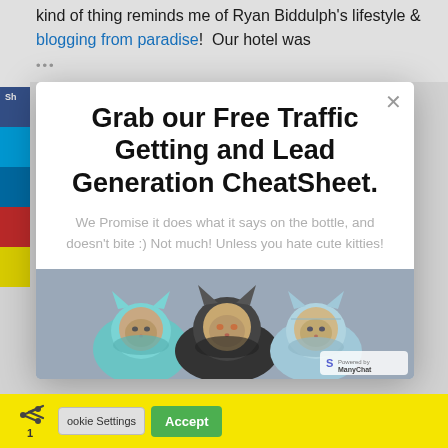kind of thing reminds me of Ryan Biddulph's lifestyle & blogging from paradise!  Our hotel was
[Figure (screenshot): Modal popup overlay with title 'Grab our Free Traffic Getting and Lead Generation CheatSheet.' subtitle text, and a photo of three cats wearing knitted hats/hoods. A close (X) button is in the top right. A ManyChat powered badge is in the bottom right of the image area.]
We Promise it does what it says on the bottle, and doesn't bite :) Not much! Unless you hate cute kitties!
Cookie Settings   Accept